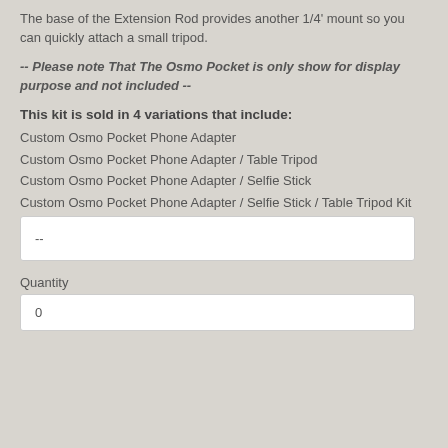The base of the Extension Rod provides another 1/4' mount so you can quickly attach a small tripod.
-- Please note That The Osmo Pocket is only show for display purpose and not included --
This kit is sold in 4 variations that include:
Custom Osmo Pocket Phone Adapter
Custom Osmo Pocket Phone Adapter / Table Tripod
Custom Osmo Pocket Phone Adapter / Selfie Stick
Custom Osmo Pocket Phone Adapter / Selfie Stick / Table Tripod Kit
--
Quantity
0